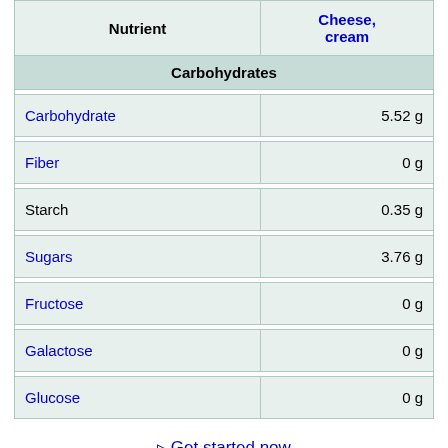| Nutrient | Cheese, cream |
| --- | --- |
| Carbohydrates |  |
| Carbohydrate | 5.52 g |
| Fiber | 0 g |
| Starch | 0.35 g |
| Sugars | 3.76 g |
| Fructose | 0 g |
| Galactose | 0 g |
| Glucose | 0 g |
⊳ Get started now